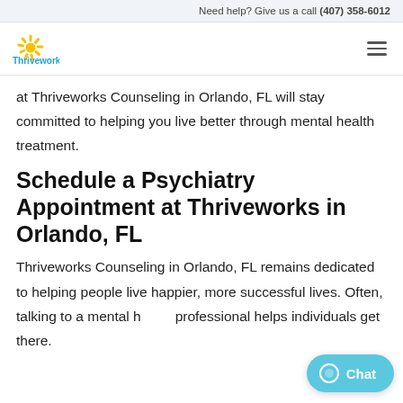Need help? Give us a call (407) 358-6012
[Figure (logo): Thriveworks logo with yellow sunburst icon and blue 'Thriveworks' text]
at Thriveworks Counseling in Orlando, FL will stay committed to helping you live better through mental health treatment.
Schedule a Psychiatry Appointment at Thriveworks in Orlando, FL
Thriveworks Counseling in Orlando, FL remains dedicated to helping people live happier, more successful lives. Often, talking to a mental health professional helps individuals get there.